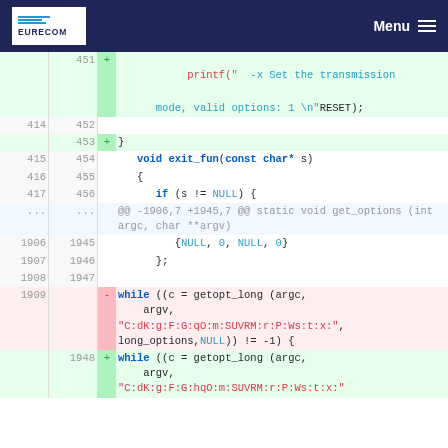[Figure (screenshot): EURECOM website header with dark navy background, white EURECOM logo on left, and Menu hamburger icon on right]
| old | new | +/- | code |
| --- | --- | --- | --- |
|  | 451 | + |     printf("  -x Set the transmission mode, valid options: 1 \n"RESET); |
| 414 | 452 |  |  |
|  | 453 | + | } |
| 415 | 454 |  |     void exit_fun(const char* s) |
| 416 | 455 |  |     { |
| 417 | 456 |  |       if (s != NULL) { |
| ... | ... |  | @@ -1906,7 +1945,7 @@ static void get_options (int argc, char **argv) |
| 1906 | 1945 |  |         {NULL, 0, NULL, 0} |
| 1907 | 1946 |  |       }; |
| 1908 | 1947 |  |  |
| 1909 |  | - |     while ((c = getopt_long (argc, argv, "C:dK:g:F:G:qO:m:SUVRM:r:P:Ws:t:x:", long_options,NULL)) != -1) { |
|  | 1948 | + |     while ((c = getopt_long (argc, argv, "C:dK:g:F:G:hqO:m:SUVRM:r:P:Ws:t:x:" |